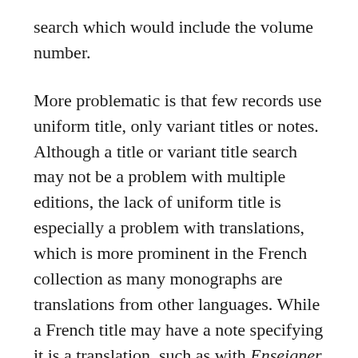search which would include the volume number.
More problematic is that few records use uniform title, only variant titles or notes. Although a title or variant title search may not be a problem with multiple editions, the lack of uniform title is especially a problem with translations, which is more prominent in the French collection as many monographs are translations from other languages. While a French title may have a note specifying it is a translation, such as with Enseigner la lecture : revenir a` l'essentiel (bid: 3807358), the reverse is not true, meaning the user cannot search for or even know of translations of a text except